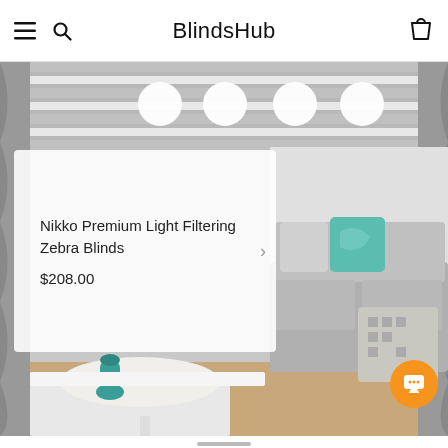BlindsHub
[Figure (photo): Interior room photo showing zebra blinds on windows with a grey sofa, teal and grey pillows, white furry rug, and white furniture]
Nikko Premium Light Filtering Zebra Blinds
$208.00